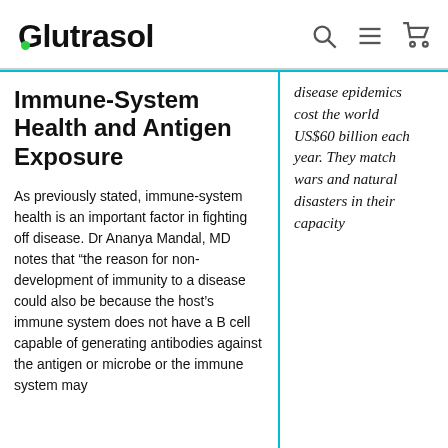Glutrasol
Immune-System Health and Antigen Exposure
As previously stated, immune-system health is an important factor in fighting off disease. Dr Ananya Mandal, MD notes that “the reason for non-development of immunity to a disease could also be because the host’s immune system does not have a B cell capable of generating antibodies against the antigen or microbe or the immune system may
disease epidemics cost the world US$60 billion each year. They match wars and natural disasters in their capacity